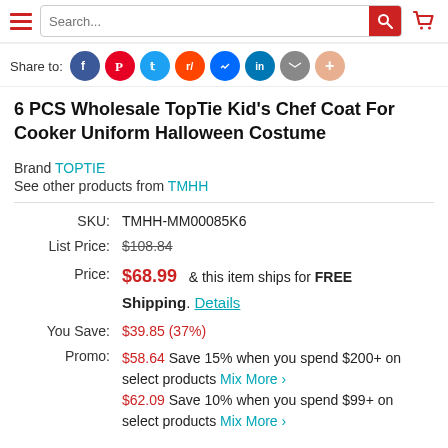Search...
Share to: [social icons]
6 PCS Wholesale TopTie Kid's Chef Coat For Cooker Uniform Halloween Costume
Brand TOPTIE
See other products from TMHH
| Field | Value |
| --- | --- |
| SKU: | TMHH-MM00085K6 |
| List Price: | $108.84 |
| Price: | $68.99  & this item ships for FREE Shipping. Details |
| You Save: | $39.85 (37%) |
| Promo: | $58.64 Save 15% when you spend $200+ on select products Mix More > $62.09 Save 10% when you spend $99+ on select products Mix More > |